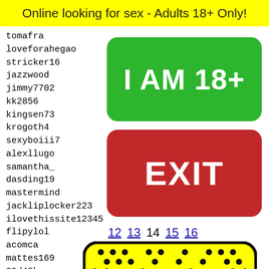Online looking for sex - Adults 18+ Only!
tomafra
loveforahegao
stricker16
jazzwood
jimmy7702
kk2856
kingsen73
krogoth4
sexyboiii7
alexllugo
samantha_
dasding19
mastermind
jackliplocker223
ilovethissite12345
flipylol
acomca
mattes169
39d48k
sodown
mwm4p1
blixa0
basela
intens
paisac
[Figure (other): Green button labeled I AM 18+]
[Figure (other): Red button labeled EXIT]
12 13 14 15 16
[Figure (illustration): Yellow rounded rectangle with black dots pattern and a face at bottom]